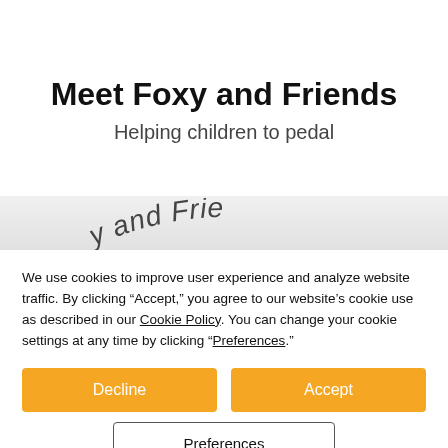Meet Foxy and Friends
Helping children to pedal
[Figure (illustration): Curved handwritten-style text reading 'y and Frie' (partial 'Foxy and Friends') on a light grey banner strip, suggesting a logo or book cover graphic partially visible]
We use cookies to improve user experience and analyze website traffic. By clicking “Accept,” you agree to our website’s cookie use as described in our Cookie Policy. You can change your cookie settings at any time by clicking “Preferences.”
Decline
Accept
Preferences